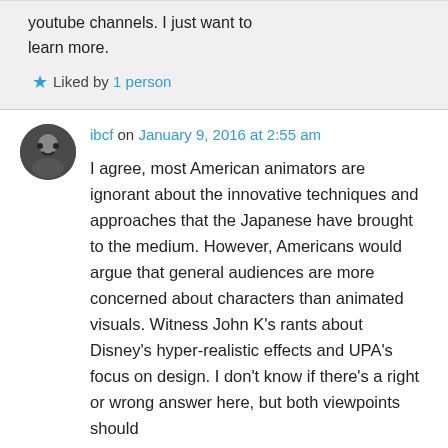youtube channels. I just want to learn more.
★ Liked by 1 person
ibcf on January 9, 2016 at 2:55 am
I agree, most American animators are ignorant about the innovative techniques and approaches that the Japanese have brought to the medium. However, Americans would argue that general audiences are more concerned about characters than animated visuals. Witness John K's rants about Disney's hyper-realistic effects and UPA's focus on design. I don't know if there's a right or wrong answer here, but both viewpoints should be considered.